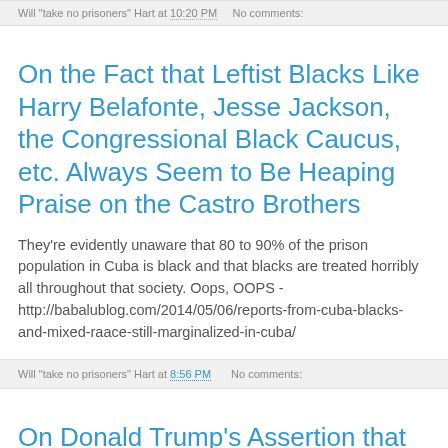Will "take no prisoners" Hart at 10:20 PM   No comments:
On the Fact that Leftist Blacks Like Harry Belafonte, Jesse Jackson, the Congressional Black Caucus, etc. Always Seem to Be Heaping Praise on the Castro Brothers
They're evidently unaware that 80 to 90% of the prison population in Cuba is black and that blacks are treated horribly all throughout that society. Oops, OOPS - http://babalublog.com/2014/05/06/reports-from-cuba-blacks-and-mixed-raace-still-marginalized-in-cuba/
Will "take no prisoners" Hart at 8:56 PM   No comments:
On Donald Trump's Assertion that the Iran Deal Was the Most Poorly...